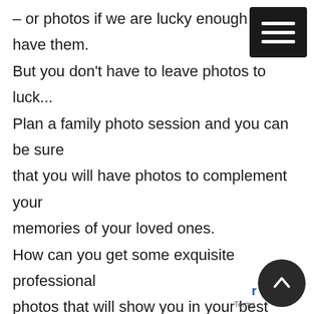– or photos if we are lucky enough to have them. But you don't have to leave photos to luck... Plan a family photo session and you can be sure that you will have photos to complement your memories of your loved ones. How can you get some exquisite professional photos that will show you in your best light? Schedule a photo session for your family!

Book a session, pay a deposit, choose a date! Don't leave it until the perfect time, because there is never a perfect time. The best time is now!